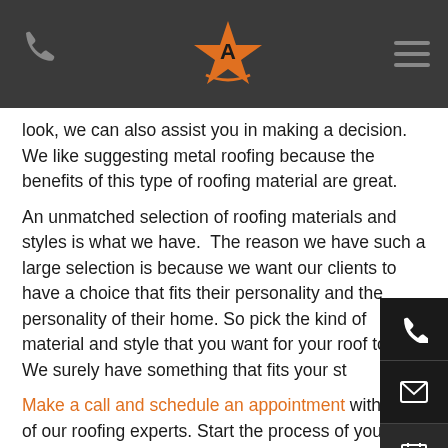[Phone icon] [A-star logo] [Hamburger menu]
look, we can also assist you in making a decision. We like suggesting metal roofing because the benefits of this type of roofing material are great.
An unmatched selection of roofing materials and styles is what we have.  The reason we have such a large selection is because we want our clients to have a choice that fits their personality and the personality of their home. So pick the kind of material and style that you want for your roof today. We surely have something that fits your st
Make a call and schedule an appointment with one of our roofing experts. Start the process of your Dickinson TX